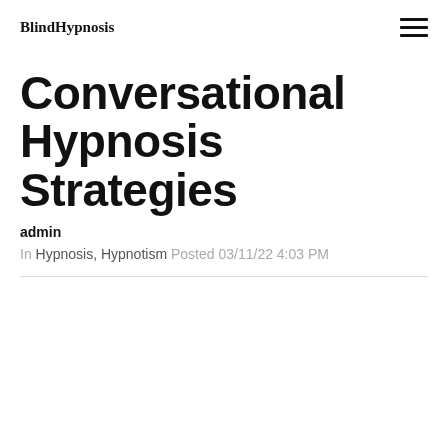BlindHypnosis
Conversational Hypnosis Strategies
admin
In Hypnosis, Hypnotism Posted 03/11/22 4:03 PM